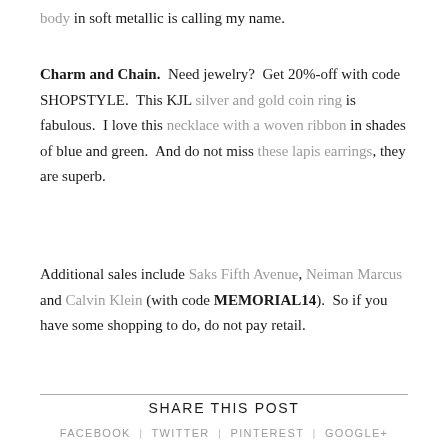body in soft metallic is calling my name.
Charm and Chain. Need jewelry? Get 20%-off with code SHOPSTYLE. This KJL silver and gold coin ring is fabulous. I love this necklace with a woven ribbon in shades of blue and green. And do not miss these lapis earrings, they are superb.
Additional sales include Saks Fifth Avenue, Neiman Marcus and Calvin Klein (with code MEMORIAL14). So if you have some shopping to do, do not pay retail.
SHARE THIS POST
FACEBOOK | TWITTER | PINTEREST | GOOGLE+